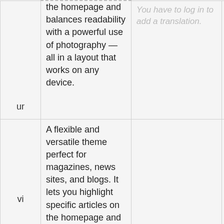| Language | Description | Translation | Action |
| --- | --- | --- | --- |
| ur | the homepage and balances readability with a powerful use of photography — all in a layout that works on any device. | You have to log in to add a translation. | Details |
| vi | A flexible and versatile theme perfect for magazines, news sites, and blogs. It lets you highlight specific articles on the homepage and balances readability with a powerful use of photography — all in a layout that | You have to log in to add a translation. | Details |